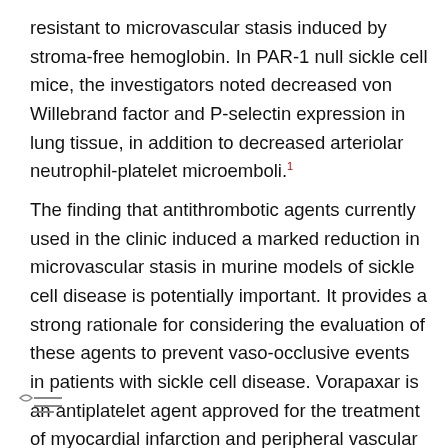resistant to microvascular stasis induced by stroma-free hemoglobin. In PAR-1 null sickle cell mice, the investigators noted decreased von Willebrand factor and P-selectin expression in lung tissue, in addition to decreased arteriolar neutrophil-platelet microemboli.¹
The finding that antithrombotic agents currently used in the clinic induced a marked reduction in microvascular stasis in murine models of sickle cell disease is potentially important. It provides a strong rationale for considering the evaluation of these agents to prevent vaso-occlusive events in patients with sickle cell disease. Vorapaxar is an antiplatelet agent approved for the treatment of myocardial infarction and peripheral vascular disease but is contraindicated in patients with a history of stroke⁸; therefore, it is not ideal for studying in sickle cell disease.